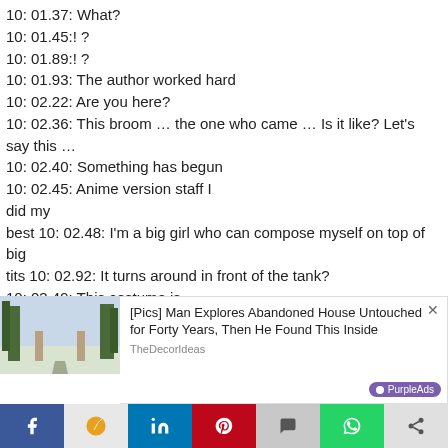10: 01.37: What?
10: 01.45:! ?
10: 01.89:! ?
10: 01.93: The author worked hard
10: 02.22: Are you here?
10: 02.36: This broom … the one who came … Is it like? Let's say this …
10: 02.40: Something has begun
10: 02.45: Anime version staff I did my best 10: 02.48: I'm a big girl who can compose myself on top of big tits 10: 02.92: It turns around in front of the tank?
10: 03.49: This costume is …
10: 03.50: I'm sure you 'll be able to hear it. 10: 03.81 : Yure
10: 03.84: Big 10: 04.17:? ?
10: 04.[obscured: This is a direction of hovering the problem
10: 04.[obscured]et
10: 05.[obscured]
[Figure (photo): Photo of a driveway with trees and gate in winter/snowy conditions, used as advertisement thumbnail]
[Pics] Man Explores Abandoned House Untouched for Forty Years, Then He Found This Inside
TheDecorIdeas
[Figure (logo): PurpleAds logo button]